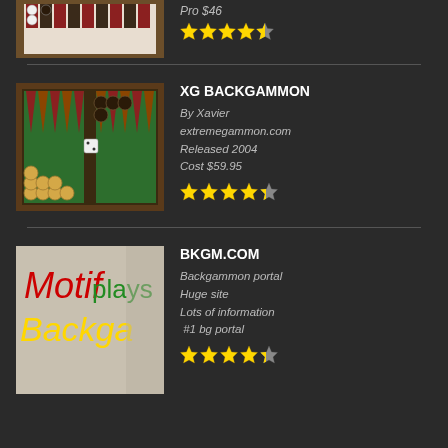[Figure (screenshot): Partial top entry: backgammon board screenshot (cropped), with text 'Pro $46' and 4.5 star rating]
Pro $46
[Figure (other): 4.5 star rating (partial entry)]
[Figure (screenshot): XG Backgammon board screenshot - green board with checkers]
XG BACKGAMMON
By Xavier
extremegammon.com
Released 2004
Cost $59.95
[Figure (other): 4.5 star rating for XG Backgammon]
[Figure (screenshot): Motif Backgammon logo/screenshot with colorful text 'Motif plays Backgammon']
BKGM.COM
Backgammon portal
Huge site
Lots of information
 #1 bg portal
[Figure (other): 4.5 star rating for BKGM.COM]